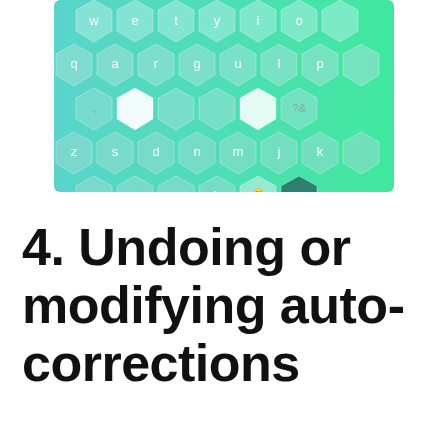[Figure (screenshot): A hexagonal keyboard layout with teal/green gradient background. Keys visible include: w, e, t, y, i, o (top row); q, a, r, g, u, l, p (second row); punctuation and f, h, ?& keys (middle row); z, s, d, n, m, j, k (fourth row); x, c, v, b, 123, and a backspace/return key (bottom row). Some hexagonal keys are highlighted in white or dark teal.]
4. Undoing or modifying auto-corrections